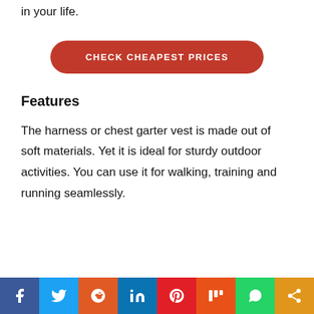in your life.
[Figure (other): Red pill-shaped button labeled CHECK CHEAPEST PRICES]
Features
The harness or chest garter vest is made out of soft materials. Yet it is ideal for sturdy outdoor activities. You can use it for walking, training and running seamlessly.
[Figure (infographic): Social media sharing bar with icons: Facebook, Twitter, Reddit, LinkedIn, Pinterest, Mix, WhatsApp, Share]